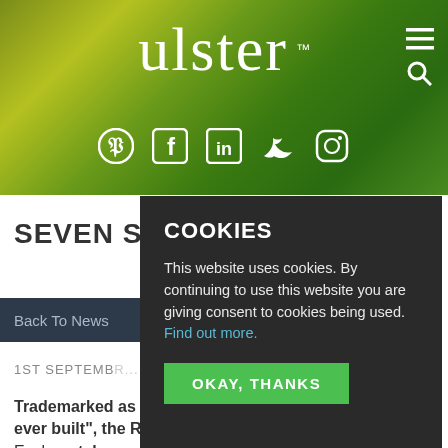[Figure (screenshot): Ulster Carpets website header with green gradient background, Ulster logo in white serif font with TM mark, hamburger menu and search icons top right, social media icons (Pinterest, Facebook, LinkedIn, Twitter, Instagram) below logo]
SEVEN SEA...
Back To News
1ST SEPTEMB...
Trademarked as "the most luxurious ship ever built", the Regent Fleet Seven Seas Explorer takes
COOKIES
This website uses cookies. By continuing to use this website you are giving consent to cookies being used. Find out more.
OKAY, THANKS